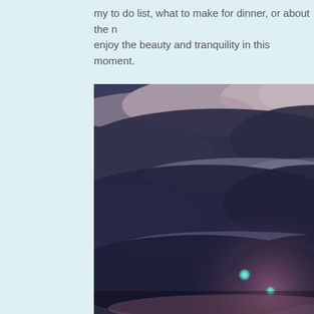my to do list, what to make for dinner, or about the m enjoy the beauty and tranquility in this moment.
[Figure (photo): A photograph of a dramatic evening sky with dark layered clouds and two small teal/green light orbs visible near the bottom right, with a pinkish-purple glow near the horizon.]